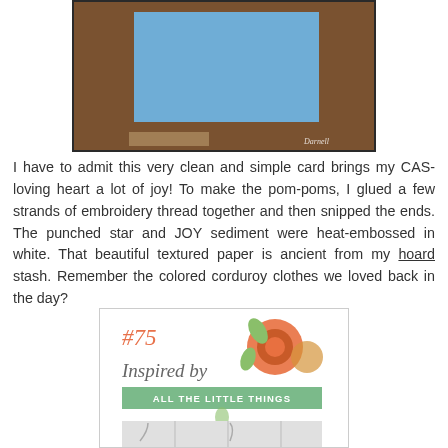[Figure (photo): Photograph of a blue card or paper on a wooden surface, with watermark 'Darnell' in bottom right corner]
I have to admit this very clean and simple card brings my CAS-loving heart a lot of joy! To make the pom-poms, I glued a few strands of embroidery thread together and then snipped the ends. The punched star and JOY sediment were heat-embossed in white. That beautiful textured paper is ancient from my hoard stash. Remember the colored corduroy clothes we loved back in the day?
[Figure (illustration): Badge image reading '#75 Inspired by ALL THE LITTLE THINGS' with floral decorations in orange and green, and a photo strip below showing hangers on a white background]